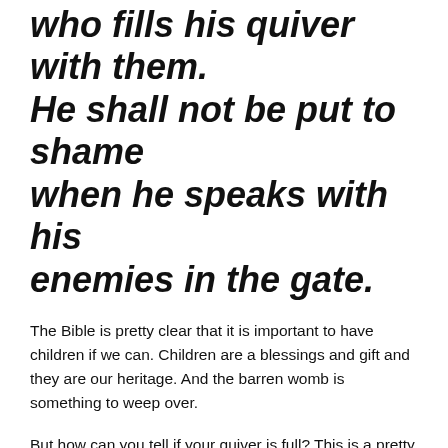who fills his quiver with them. He shall not be put to shame when he speaks with his enemies in the gate.
The Bible is pretty clear that it is important to have children if we can. Children are a blessings and gift and they are our heritage. And the barren womb is something to weep over.
But how can you tell if your quiver is full? This is a pretty huge question.
Is it even Biblical to use contraception? How can we